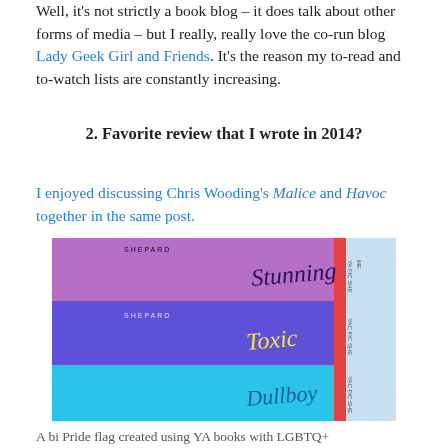Well, it's not strictly a book blog – it does talk about other forms of media – but I really, really love the co-run blog Lady Geek Girl and Friends. It's the reason my to-read and to-watch lists are constantly increasing.
2. Favorite review that I wrote in 2014?
I enjoyed discussing Chris Wooding's Malice and Havoc together in the same post.
[Figure (photo): A stack of three books with colorful spines on a blue background, showing titles Stunning, Toxic, and Dullboy by Shepard, with library labels on the spines. The books form a bi Pride flag pattern with purple, blue, and light blue colors.]
A bi Pride flag created using YA books with LGBTQ+